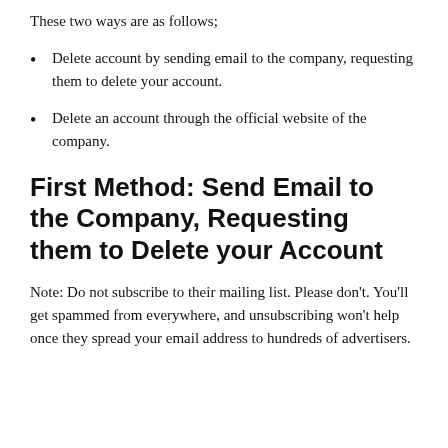These two ways are as follows;
Delete account by sending email to the company, requesting them to delete your account.
Delete an account through the official website of the company.
First Method: Send Email to the Company, Requesting them to Delete your Account
Note: Do not subscribe to their mailing list. Please don't. You'll get spammed from everywhere, and unsubscribing won't help once they spread your email address to hundreds of advertisers.